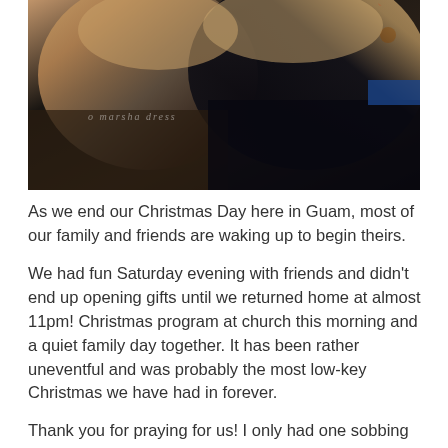[Figure (photo): Two young boys smiling close together, appearing to be at a Christmas setting with bokeh lights visible in the background. A watermark reads 'o marsha dress' in the lower portion of the photo.]
As we end our Christmas Day here in Guam, most of our family and friends are waking up to begin theirs.
We had fun Saturday evening with friends and didn't end up opening gifts until we returned home at almost 11pm! Christmas program at church this morning and a quiet family day together. It has been rather uneventful and was probably the most low-key Christmas we have had in forever.
Thank you for praying for us! I only had one sobbing breakdown after Austin and Noah opened their gifts... It just went by too quickly and peacefully. I cherish their thank you's and hugs and kisses after each gift. And I wish that there was a rowdy 7yo blonde boy in the mix to liven things